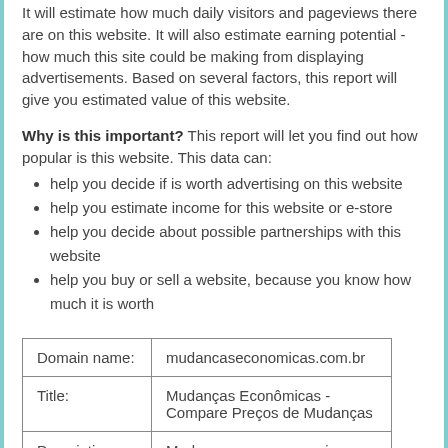It will estimate how much daily visitors and pageviews there are on this website. It will also estimate earning potential - how much this site could be making from displaying advertisements. Based on several factors, this report will give you estimated value of this website.
Why is this important? This report will let you find out how popular is this website. This data can:
help you decide if is worth advertising on this website
help you estimate income for this website or e-store
help you decide about possible partnerships with this website
help you buy or sell a website, because you know how much it is worth
|  |  |
| --- | --- |
| Domain name: | mudancaseconomicas.com.br |
| Title: | Mudanças Econômicas - Compare Preços de Mudanças |
| Description: | Mudanças com economia. Compare preços e serviços entre várias empresas de mudanças na sua cidade e economize tempo e dinheiro. Ganhe cupons de desconto para a sua mudança. |